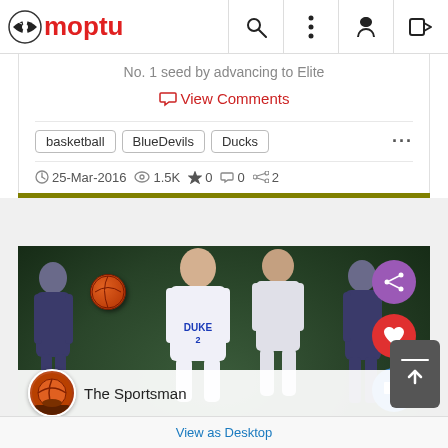Moptu
No. 1 seed by advancing to Elite
View Comments
basketball  BlueDevils  Ducks  ...
25-Mar-2016  1.5K  0  0  2
[Figure (photo): Basketball game photo showing Duke player #2 in white uniform among other players, with a basketball mid-air. Floating action buttons for share (purple), like (red), comment (blue) on the right side. Source avatar and 'The Sportsman' label at bottom.]
View as Desktop